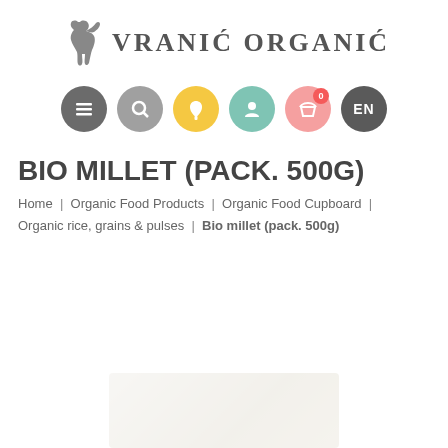VRANIC ORGANIC — website header with logo and navigation icons
BIO MILLET (PACK. 500G)
Home | Organic Food Products | Organic Food Cupboard | Organic rice, grains & pulses | Bio millet (pack. 500g)
[Figure (photo): Faded product image of bio millet packaging at bottom of page]